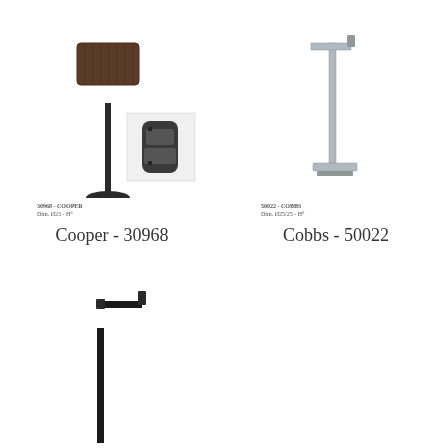[Figure (photo): Floor lamp product photo - Cooper 30968, dark/bronze finish with textured cylindrical shade and detail inset]
30968 - COOPER
Dim. Ø23 - H°
Cooper - 30968
[Figure (photo): Floor lamp product photo - Cobbs 50022, chrome/silver finish, angular minimalist design with square base]
50022 - COBBS
Dim. Ø25/25 - H°
Cobbs - 50022
[Figure (photo): Floor lamp product photo - bottom section, dark/black finish, angular design, partially cropped]